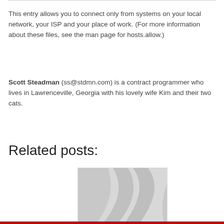This entry allows you to connect only from systems on your local network, your ISP and your place of work. (For more information about these files, see the man page for hosts.allow.)
Scott Steadman (ss@stdmn.com) is a contract programmer who lives in Lawrenceville, Georgia with his lovely wife Kim and their two cats.
Related posts:
[Figure (photo): Placeholder image with grey wavy abstract pattern]
Cooking with Linux: Virtual Dramamine